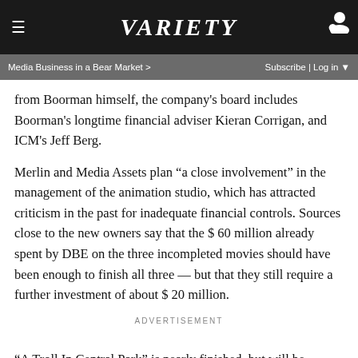VARIETY
Media Business in a Bear Market > Subscribe | Log in
from Boorman himself, the company's board includes Boorman's longtime financial adviser Kieran Corrigan, and ICM's Jeff Berg.
Merlin and Media Assets plan “a close involvement” in the management of the animation studio, which has attracted criticism in the past for inadequate financial controls. Sources close to the new owners say that the $ 60 million already spent by DBE on the three incompleted movies should have been enough to finish all three — but that they still require a further investment of about $ 20 million.
ADVERTISEMENT
“A Troll In Central Park” is nearly finished, but will be released